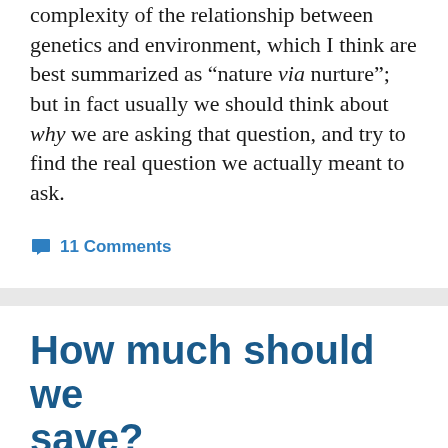complexity of the relationship between genetics and environment, which I think are best summarized as “nature via nurture”; but in fact usually we should think about why we are asking that question, and try to find the real question we actually meant to ask.
11 Comments
How much should we save?
2015-07-11   critique of neoclassical economics, macroeconomics, public policy,   Bridge to Nowhere,